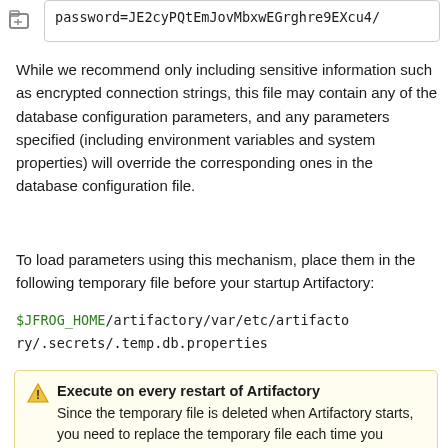[Figure (screenshot): Small folder/file icon in top left corner]
password=JE2cyPQtEmJovMbxwEGrghre9EXcu4/
While we recommend only including sensitive information such as encrypted connection strings, this file may contain any of the database configuration parameters, and any parameters specified (including environment variables and system properties) will override the corresponding ones in the database configuration file.
To load parameters using this mechanism, place them in the following temporary file before your startup Artifactory:
$JFROG_HOME/artifactory/var/etc/artifactory/.secrets/.temp.db.properties
Execute on every restart of Artifactory
Since the temporary file is deleted when Artifactory starts, you need to replace the temporary file each time you restart Artifactory.